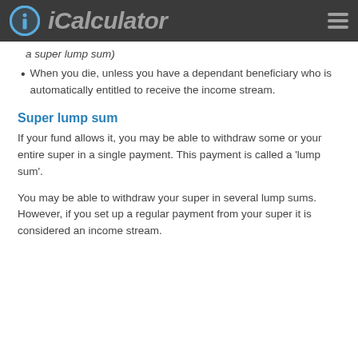iCalculator
a super lump sum)
When you die, unless you have a dependant beneficiary who is automatically entitled to receive the income stream.
Super lump sum
If your fund allows it, you may be able to withdraw some or your entire super in a single payment. This payment is called a 'lump sum'.
You may be able to withdraw your super in several lump sums. However, if you set up a regular payment from your super it is considered an income stream.